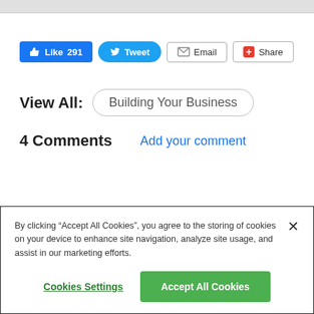[Figure (screenshot): Social sharing buttons: Like 291 (Facebook blue), Tweet (Twitter blue), Email (with envelope icon), Share (with red plus icon)]
View All:  Building Your Business
4 Comments   Add your comment
By clicking "Accept All Cookies", you agree to the storing of cookies on your device to enhance site navigation, analyze site usage, and assist in our marketing efforts.
Cookies Settings   Accept All Cookies